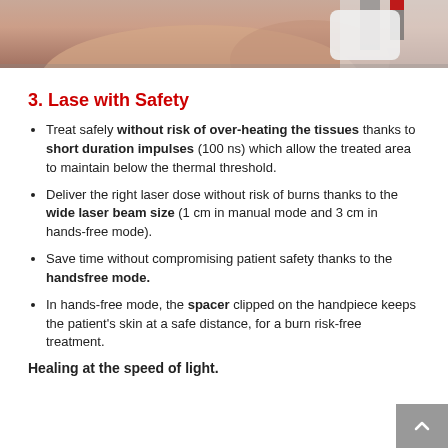[Figure (photo): Partial view of a patient receiving laser treatment from a medical device, white handpiece visible, shirtless torso.]
3. Lase with Safety
Treat safely without risk of over-heating the tissues thanks to short duration impulses (100 ns) which allow the treated area to maintain below the thermal threshold.
Deliver the right laser dose without risk of burns thanks to the wide laser beam size (1 cm in manual mode and 3 cm in hands-free mode).
Save time without compromising patient safety thanks to the handsfree mode.
In hands-free mode, the spacer clipped on the handpiece keeps the patient's skin at a safe distance, for a burn risk-free treatment.
Healing at the speed of light.